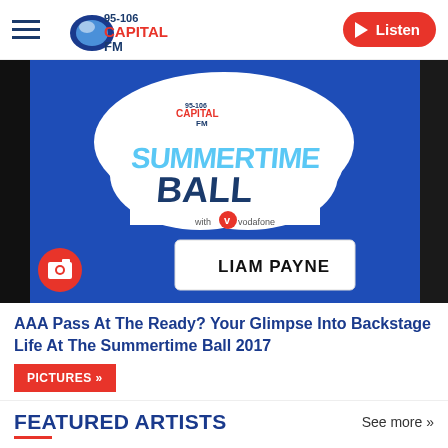95-106 Capital FM | Listen
[Figure (photo): Capital FM Summertime Ball 2017 backdrop with Liam Payne nameplate on a blue board, with event branding and Vodafone sponsorship logo, and a red camera icon badge in bottom-left corner]
AAA Pass At The Ready? Your Glimpse Into Backstage Life At The Summertime Ball 2017
PICTURES »
FEATURED ARTISTS
See more »